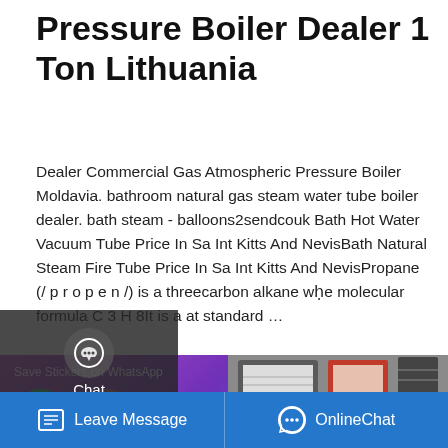Pressure Boiler Dealer 1 Ton Lithuania
Dealer Commercial Gas Atmospheric Pressure Boiler Moldavia. bathroom natural gas steam water tube boiler dealer. bath steam - balloons2sendcouk Bath Hot Water Vacuum Tube Price In Sa Int Kitts And NevisBath Natural Steam Fire Tube Price In Sa Int Kitts And NevisPropane (/ p r o p e n /) is a threecarbon alkane wḥe molecular formula C 3 H 8It is a at standard …
[Figure (screenshot): Sidebar overlay with Chat, Email, and Contact icons on dark background, plus a Get a Quote yellow button]
[Figure (screenshot): WhatsApp sticker save section with purple gradient and phone/emoji icons on the left, and a photo of books/binder on the right]
[Figure (screenshot): Blue bottom bar with Leave Message and OnlineChat buttons]